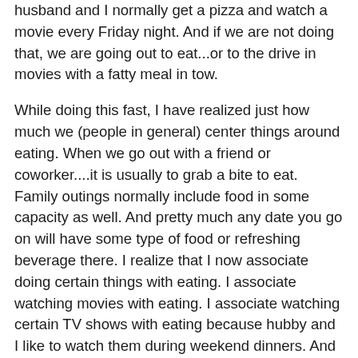husband and I normally get a pizza and watch a movie every Friday night. And if we are not doing that, we are going out to eat...or to the drive in movies with a fatty meal in tow.
While doing this fast, I have realized just how much we (people in general) center things around eating. When we go out with a friend or coworker....it is usually to grab a bite to eat. Family outings normally include food in some capacity as well. And pretty much any date you go on will have some type of food or refreshing beverage there. I realize that I now associate doing certain things with eating. I associate watching movies with eating. I associate watching certain TV shows with eating because hubby and I like to watch them during weekend dinners. And even worse, I associate those movies and shows with eating specific foods (normally fatty ones like pizza, subs and etc.).
So now, every single time we watch one of our favorite shows I crave the things I ate pre-fast. Pizza has been the worst craving. Part of me thought about retraining my brain and body to associate healthy eating. So perhaps I should drink my juice while watching the shows, checking FB and